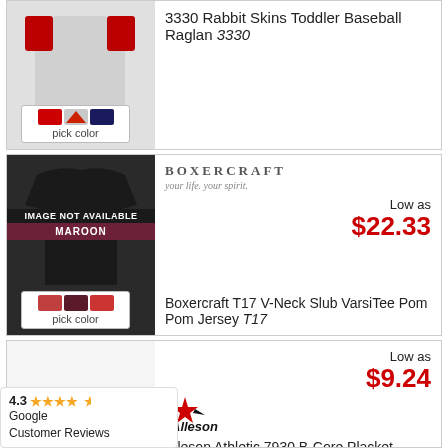[Figure (photo): Partial product card for Rabbit Skins Toddler Baseball Raglan 3330, showing a gray raglan shirt image and color picker swatches]
3330 Rabbit Skins Toddler Baseball Raglan 3330
[Figure (photo): Boxercraft T17 V-Neck Slub VarsiTee Pom Pom Jersey product image showing a dark athletic shirt with IMAGE NOT AVAILABLE overlay and MAROON color bar]
Low as
$22.33
Boxercraft T17 V-Neck Slub VarsiTee Pom Pom Jersey T17
[Figure (logo): Alleson Athletic brand logo]
Low as
$9.24
Alleson Athletic 7930 B-Core Placket Jersey 7930
4.3 Google Customer Reviews